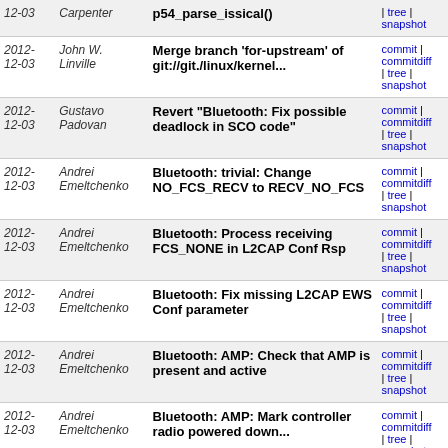| Date | Author | Commit Message | Links |
| --- | --- | --- | --- |
| 2012-12-03 | Carpenter | p54_parse_issical() | commit | commitdiff | tree | snapshot |
| 2012-12-03 | John W. Linville | Merge branch 'for-upstream' of git://git./linux/kernel... | commit | commitdiff | tree | snapshot |
| 2012-12-03 | Gustavo Padovan | Revert "Bluetooth: Fix possible deadlock in SCO code" | commit | commitdiff | tree | snapshot |
| 2012-12-03 | Andrei Emeltchenko | Bluetooth: trivial: Change NO_FCS_RECV to RECV_NO_FCS | commit | commitdiff | tree | snapshot |
| 2012-12-03 | Andrei Emeltchenko | Bluetooth: Process receiving FCS_NONE in L2CAP Conf Rsp | commit | commitdiff | tree | snapshot |
| 2012-12-03 | Andrei Emeltchenko | Bluetooth: Fix missing L2CAP EWS Conf parameter | commit | commitdiff | tree | snapshot |
| 2012-12-03 | Andrei Emeltchenko | Bluetooth: AMP: Check that AMP is present and active | commit | commitdiff | tree | snapshot |
| 2012-12-03 | Andrei Emeltchenko | Bluetooth: AMP: Mark controller radio powered down... | commit | commitdiff | tree | snapshot |
| 2012-12-03 | Andrei Emeltchenko | Bluetooth: Refactor l2cap_send_disconn_req | commit | commitdiff | tree | snapshot |
| 2012-12-03 | Gustavo Padovan | Bluetooth: Move double negation to macros | commit | commitdiff | tree | snapshot |
| 2012-12-03 | Frédéric Dalleau | Bluetooth: Implement deferred sco socket setup | commit | commitdiff | tree | snapshot |